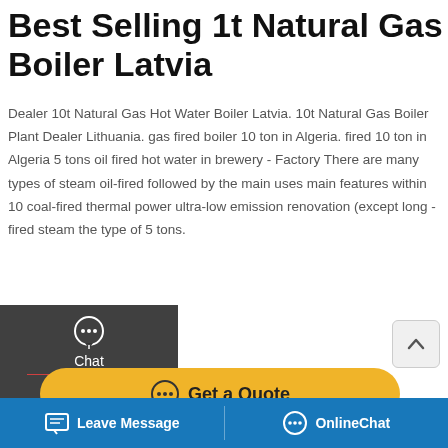Best Selling 1t Natural Gas Boiler Latvia
Dealer 10t Natural Gas Hot Water Boiler Latvia. 10t Natural Gas Boiler Plant Dealer Lithuania. gas fired boiler 10 ton in Algeria. fired 10 ton in Algeria 5 tons oil fired hot water in brewery - Factory There are many types of steam oil-fired followed by the main uses main features within 10 coal-fired thermal power ultra-low emission renovation (except long -fired steam the type of 5 tons.
[Figure (screenshot): Sidebar UI overlay with Chat, Email, Contact icons on dark background]
[Figure (screenshot): Get a Quote button in gold/yellow rounded rectangle]
[Figure (screenshot): Save Stickers on WhatsApp bar with purple/pink gradient and app icons]
[Figure (photo): Partial outdoor photo, likely boiler equipment]
[Figure (screenshot): Bottom navigation bar with Leave Message and OnlineChat buttons on blue background]